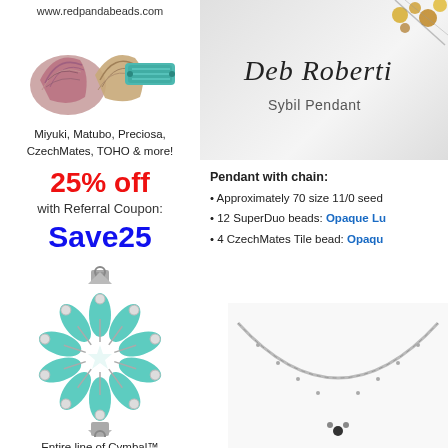www.redpandabeads.com
[Figure (photo): Three decorative beads: two fan-shaped pink/copper beads and one rectangular teal bead]
Miyuki, Matubo, Preciosa, CzechMates, TOHO & more!
25% off
with Referral Coupon:
Save25
[Figure (photo): Cymbal connector with teal flower petal design surrounded by small pearls with silver metal frame]
Entire line of Cymbal™
[Figure (photo): Deb Roberti Sybil Pendant header image with jewelry and cursive logo text]
Deb Roberti
Sybil Pendant
Pendant with chain:
Approximately 70 size 11/0 seed beads
12 SuperDuo beads: Opaque Lu…
4 CzechMates Tile bead: Opaqu…
[Figure (photo): Necklace with thin silver chain and small black and silver pendant at center]